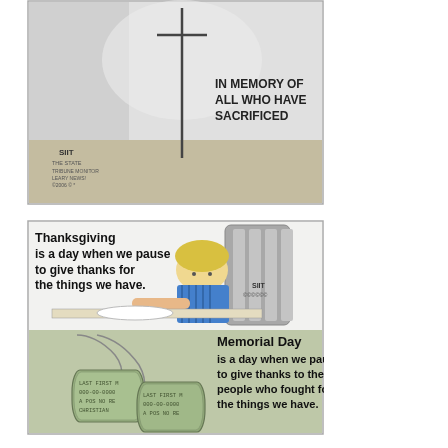[Figure (illustration): Editorial cartoon showing a military grave marker/cross with text 'IN MEMORY OF ALL WHO HAVE SACRIFICED' and an artist signature 'SIIT / THE STATE'. Background has dramatic sky.]
[Figure (illustration): Editorial cartoon contrasting Thanksgiving and Memorial Day. A child sits at a table with an empty plate. Text reads: 'Thanksgiving is a day when we pause to give thanks for the things we have.' Lower half shows military dog tags and text: 'Memorial Day is a day when we pause to give thanks to the people who fought for the things we have.' Signed by SIIT.]
[Figure (illustration): Partial editorial cartoon visible at bottom showing a BBQ/picnic scene with text 'HAMBURGERS, HOT DOGS, BUNS, MUSTARD, KETCHUP, BEER, SOFT DRINKS... HONEY, WHAT ARE THE FLAGS FOR?' and response 'TO SAY THANKS.']